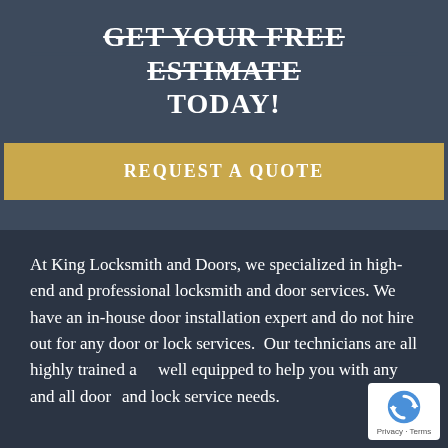GET YOUR FREE ESTIMATE TODAY!
[Figure (other): Yellow 'REQUEST A QUOTE' button]
At King Locksmith and Doors, we specialized in high-end and professional locksmith and door services. We have an in-house door installation expert and do not hire out for any door or lock services.  Our technicians are all highly trained and well equipped to help you with any and all door and lock service needs.
[Figure (logo): reCAPTCHA badge with circular arrow icon and 'Privacy - Terms' text]